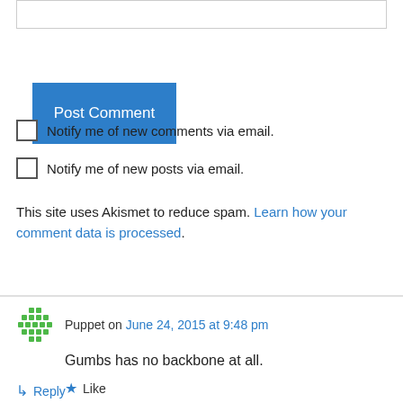[Figure (screenshot): Input text box at top of page]
Post Comment
Notify me of new comments via email.
Notify me of new posts via email.
This site uses Akismet to reduce spam. Learn how your comment data is processed.
Puppet on June 24, 2015 at 9:48 pm
Gumbs has no backbone at all.
Like
Reply